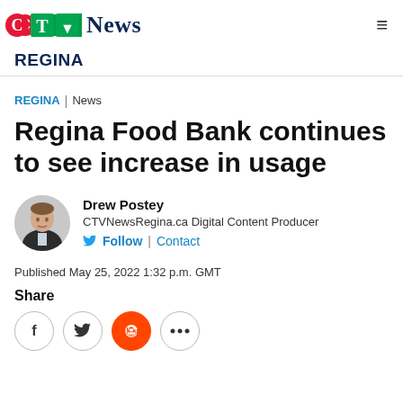CTV News — REGINA
REGINA | News
Regina Food Bank continues to see increase in usage
Drew Postey
CTVNewsRegina.ca Digital Content Producer
Follow | Contact
Published May 25, 2022 1:32 p.m. GMT
Share